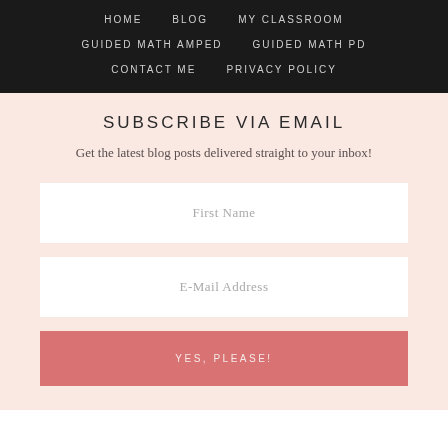HOME   BLOG   MY CLASSROOM   GUIDED MATH AMPED   GUIDED MATH PD   CONTACT ME   PRIVACY POLICY
SUBSCRIBE VIA EMAIL
Get the latest blog posts delivered straight to your inbox!
First Name
E-Mail Address
YES, PLEASE!